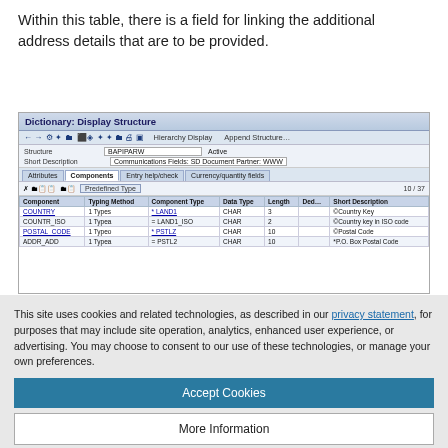Within this table, there is a field for linking the additional address details that are to be provided.
[Figure (screenshot): SAP Dictionary: Display Structure screenshot showing BAPIPARW structure with Components tab active, listing fields COUNTRY, COUNTR_ISO, POSTAL_CODE, ADDR_ADD with their typing methods, component types, data types, lengths, and short descriptions.]
This site uses cookies and related technologies, as described in our privacy statement, for purposes that may include site operation, analytics, enhanced user experience, or advertising. You may choose to consent to our use of these technologies, or manage your own preferences.
Accept Cookies
More Information
Privacy Policy | Powered by: TrustArc